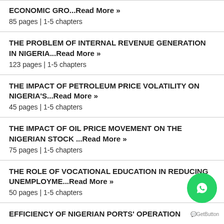ECONOMIC GRO...Read More »
85 pages | 1-5 chapters
THE PROBLEM OF INTERNAL REVENUE GENERATION IN NIGERIA...Read More »
123 pages | 1-5 chapters
THE IMPACT OF PETROLEUM PRICE VOLATILITY ON NIGERIA'S...Read More »
45 pages | 1-5 chapters
THE IMPACT OF OIL PRICE MOVEMENT ON THE NIGERIAN STOCK ...Read More »
75 pages | 1-5 chapters
THE ROLE OF VOCATIONAL EDUCATION IN REDUCING UNEMPLOYME...Read More »
50 pages | 1-5 chapters
EFFICIENCY OF NIGERIAN PORTS' OPERATION